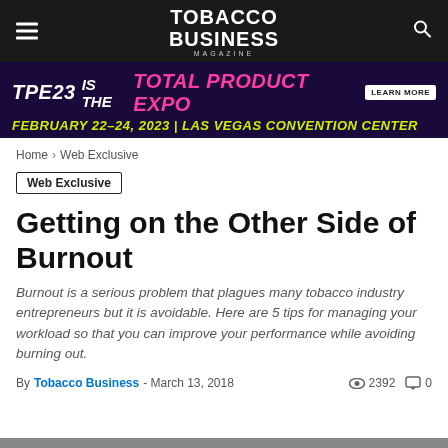TOBACCO BUSINESS MAGAZINE
[Figure (infographic): TPE23 advertisement banner: TPE23 IS THE TOTAL PRODUCT EXPO - FEBRUARY 22-24, 2023 | LAS VEGAS CONVENTION CENTER]
Home > Web Exclusive
Web Exclusive
Getting on the Other Side of Burnout
Burnout is a serious problem that plagues many tobacco industry entrepreneurs but it is avoidable. Here are 5 tips for managing your workload so that you can improve your performance while avoiding burning out.
By Tobacco Business - March 13, 2018   2392   0